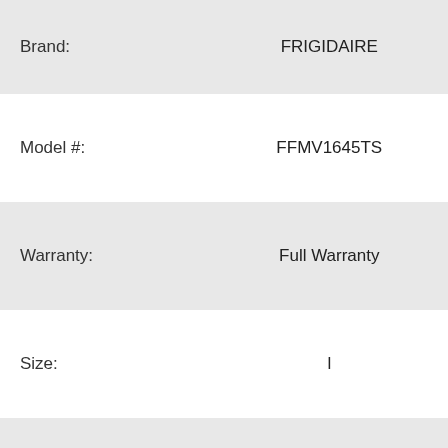| Attribute | Value |
| --- | --- |
| Brand: | FRIGIDAIRE |
| Model #: | FFMV1645TS |
| Warranty: | Full Warranty |
| Size: | l |
| Color: | Stainless Steel |
| Dimensions: | 30 X 17 X 16 Inches (Length X Width X Height) |
| Price: | $296.80 |